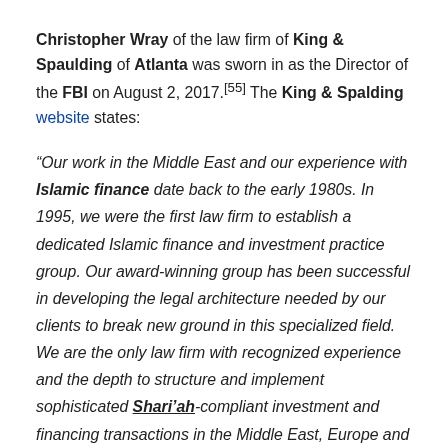Christopher Wray of the law firm of King & Spaulding of Atlanta was sworn in as the Director of the FBI on August 2, 2017.[55] The King & Spalding website states:
“Our work in the Middle East and our experience with Islamic finance date back to the early 1980s. In 1995, we were the first law firm to establish a dedicated Islamic finance and investment practice group. Our award-winning group has been successful in developing the legal architecture needed by our clients to break new ground in this specialized field. We are the only law firm with recognized experience and the depth to structure and implement sophisticated Shari’ah-compliant investment and financing transactions in the Middle East, Europe and the United States.”